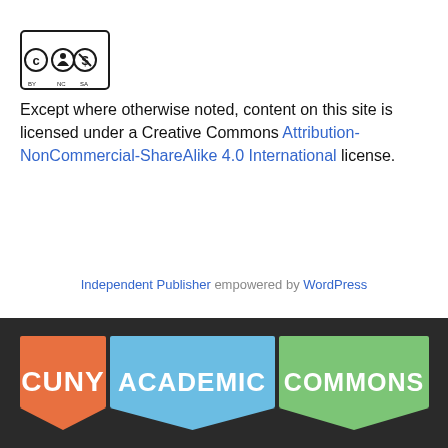[Figure (logo): Creative Commons BY NC SA license logo with CC, person, dollar-sign-crossed, and share-alike icons in black and white]
Except where otherwise noted, content on this site is licensed under a Creative Commons Attribution-NonCommercial-ShareAlike 4.0 International license.
Independent Publisher empowered by WordPress
[Figure (logo): CUNY Academic Commons logo: three colored speech bubble blocks in orange, blue, and green with white text reading CUNY, ACADEMIC, COMMONS respectively, on a dark background]